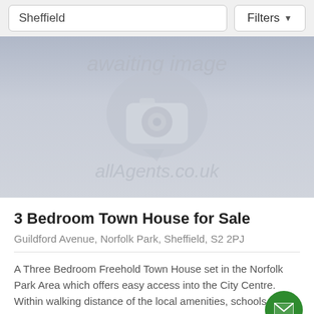Sheffield | Filters
[Figure (illustration): Awaiting image placeholder with camera icon and allAgents.co.uk watermark on a grey gradient background]
3 Bedroom Town House for Sale
Guildford Avenue, Norfolk Park, Sheffield, S2 2PJ
A Three Bedroom Freehold Town House set in the Norfolk Park Area which offers easy access into the City Centre. Within walking distance of the local amenities, schools and Nor...